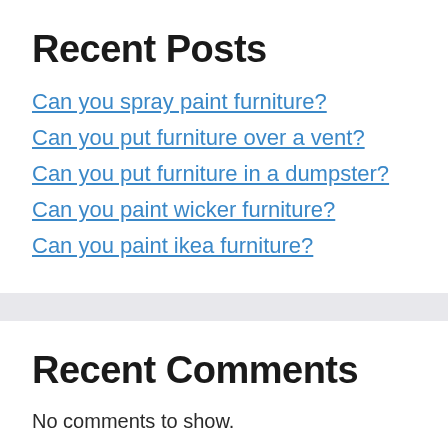Recent Posts
Can you spray paint furniture?
Can you put furniture over a vent?
Can you put furniture in a dumpster?
Can you paint wicker furniture?
Can you paint ikea furniture?
Recent Comments
No comments to show.